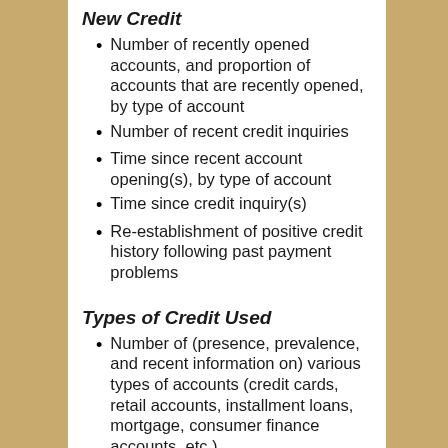New Credit
Number of recently opened accounts, and proportion of accounts that are recently opened, by type of account
Number of recent credit inquiries
Time since recent account opening(s), by type of account
Time since credit inquiry(s)
Re-establishment of positive credit history following past payment problems
Types of Credit Used
Number of (presence, prevalence, and recent information on) various types of accounts (credit cards, retail accounts, installment loans, mortgage, consumer finance accounts, etc.)